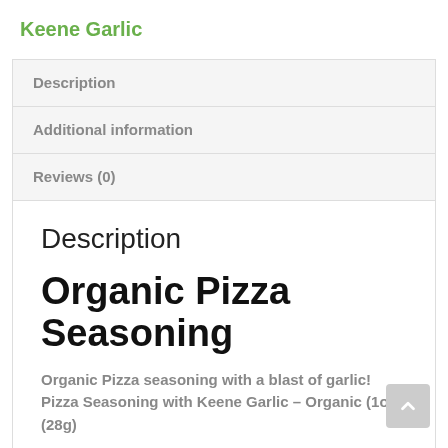Keene Garlic
Description
Additional information
Reviews (0)
Description
Organic Pizza Seasoning
Organic Pizza seasoning with a blast of garlic! Pizza Seasoning with Keene Garlic – Organic (1oz)(28g)